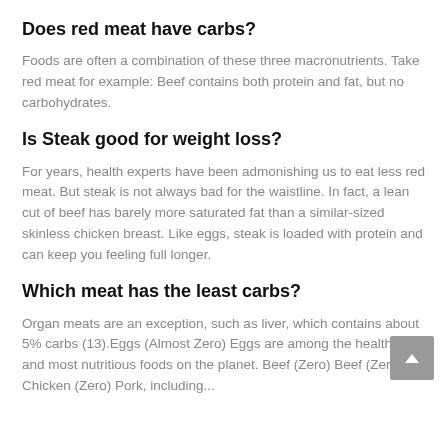Does red meat have carbs?
Foods are often a combination of these three macronutrients. Take red meat for example: Beef contains both protein and fat, but no carbohydrates.
Is Steak good for weight loss?
For years, health experts have been admonishing us to eat less red meat. But steak is not always bad for the waistline. In fact, a lean cut of beef has barely more saturated fat than a similar-sized skinless chicken breast. Like eggs, steak is loaded with protein and can keep you feeling full longer.
Which meat has the least carbs?
Organ meats are an exception, such as liver, which contains about 5% carbs (13).Eggs (Almost Zero) Eggs are among the healthiest and most nutritious foods on the planet. Beef (Zero) Beef (Zero) Chicken (Zero) Pork, including...